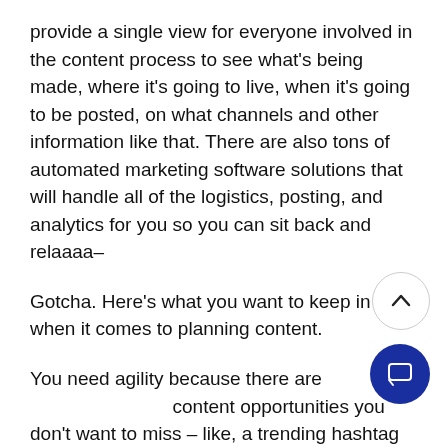provide a single view for everyone involved in the content process to see what's being made, where it's going to live, when it's going to be posted, on what channels and other information like that. There are also tons of automated marketing software solutions that will handle all of the logistics, posting, and analytics for you so you can sit back and relaaaa–

Gotcha. Here's what you want to keep in mind when it comes to planning content.

You need agility because there are content opportunities you don't want to miss – like, a trending hashtag that pertains to your product or industry. Successful brands spot these opportunities
[Figure (other): Circular scroll-to-top button with upward caret arrow, white background with light border]
[Figure (other): Circular chat button with speech bubble icon, dark navy/blue background]